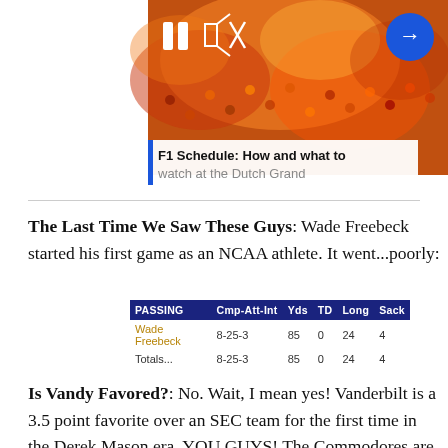[Figure (screenshot): Video player screenshot showing a crowd of fans at a racing event (Dutch Grand Prix), with pause, mute, and next arrow buttons overlaid. Below the image is a title overlay reading 'F1 Schedule: How and what to watch at the Dutch Grand'.]
The Last Time We Saw These Guys: Wade Freebeck started his first game as an NCAA athlete. It went...poorly:
| PASSING | Cmp-Att-Int | Yds | TD | Long | Sack |
| --- | --- | --- | --- | --- | --- |
| Wade Freebeck | 8-25-3 | 85 | 0 | 24 | 4 |
| Totals... | 8-25-3 | 85 | 0 | 24 | 4 |
Is Vandy Favored?: No. Wait, I mean yes! Vanderbilt is a 3.5 point favorite over an SEC team for the first time in the Derek Mason era. YOU GUYS! The Commodores are finally getting